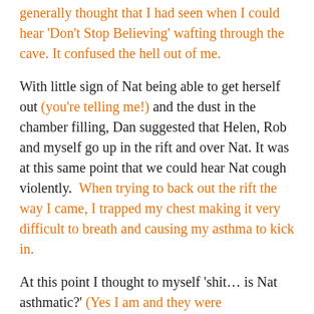generally thought that I had seen when I could hear 'Don't Stop Believing' wafting through the cave. It confused the hell out of me.
With little sign of Nat being able to get herself out (you're telling me!) and the dust in the chamber filling, Dan suggested that Helen, Rob and myself go up in the rift and over Nat. It was at this same point that we could hear Nat cough violently. When trying to back out the rift the way I came, I trapped my chest making it very difficult to breath and causing my asthma to kick in.
At this point I thought to myself 'shit... is Nat asthmatic?' (Yes I am and they were disappearing off with my inhaler!) Now Helen and I had moved on and out of the rift where we could penguin huddle for the